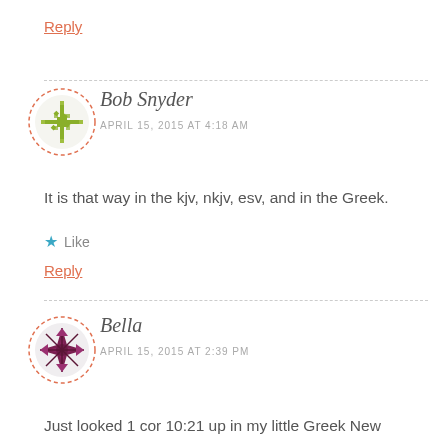Reply
Bob Snyder
APRIL 15, 2015 AT 4:18 AM
[Figure (illustration): Green quilt-pattern avatar in a dashed circle border]
It is that way in the kjv, nkjv, esv, and in the Greek.
Like
Reply
Bella
APRIL 15, 2015 AT 2:39 PM
[Figure (illustration): Dark purple/maroon quilt-pattern avatar in a dashed circle border]
Just looked 1 cor 10:21 up in my little Greek New